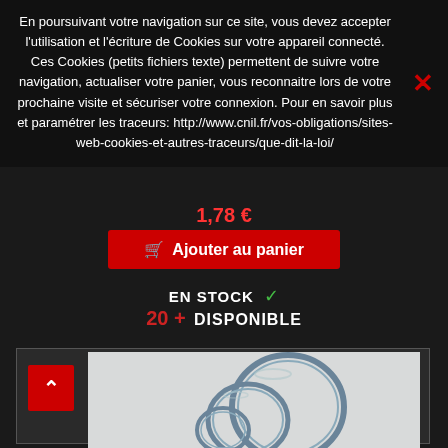En poursuivant votre navigation sur ce site, vous devez accepter l'utilisation et l'écriture de Cookies sur votre appareil connecté. Ces Cookies (petits fichiers texte) permettent de suivre votre navigation, actualiser votre panier, vous reconnaitre lors de votre prochaine visite et sécuriser votre connexion. Pour en savoir plus et paramétrer les traceurs: http://www.cnil.fr/vos-obligations/sites-web-cookies-et-autres-traceurs/que-dit-la-loi/
1,78 €
Ajouter au panier
EN STOCK ✓
20 + DISPONIBLE
[Figure (photo): Product photo showing metallic ring clamps/circlips of different sizes arranged on a light gray background]